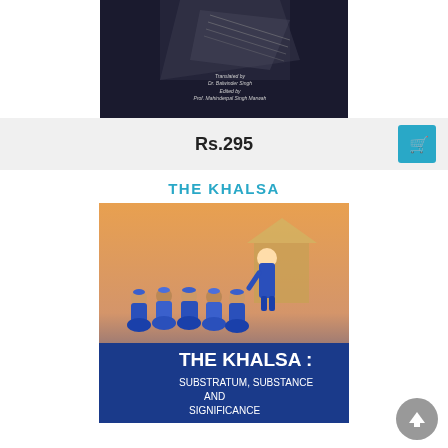[Figure (photo): Top portion of a dark-covered book with text 'Translated by Dr. Balwinder Singh, Edited by Prof. Mahinderpal Singh Marwah']
Rs.295
[Figure (illustration): Shopping cart icon button in teal/blue color]
THE KHALSA
[Figure (photo): Book cover of 'THE KHALSA: SUBSTRATUM, SUBSTANCE AND SIGNIFICANCE' showing a Sikh figure in blue robes serving the Panj Pyare (five beloved ones) kneeling in a row, with a hut in the background]
[Figure (illustration): Gray circular back-to-top arrow button in the bottom right corner]